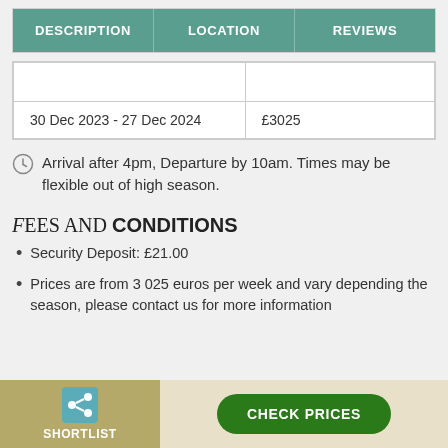| DESCRIPTION | LOCATION | REVIEWS |
| --- | --- | --- |
|  |  |
| 30 Dec 2023 - 27 Dec 2024 | £3025 |
Arrival after 4pm, Departure by 10am. Times may be flexible out of high season.
Fees and CONDITIONS
Security Deposit: £21.00
Prices are from 3 025 euros per week and vary depending the season, please contact us for more information